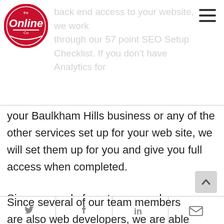[Figure (logo): The Online Co red circular logo with 'the Online Co' text]
back end access to your website, we work through our 57 point SEO Setup Checklist. If you don't have Analytics for your Baulkham Hills business or any of the other services set up for your web site, we will set them up for you and give you full access when completed.
Since several of our team members are also web developers, we are able to work very efficiently on your site without needing to go back and forth with you and a 3rd party developer to make many changes and updates to your site. We're
Twitter | Facebook | LinkedIn | Email